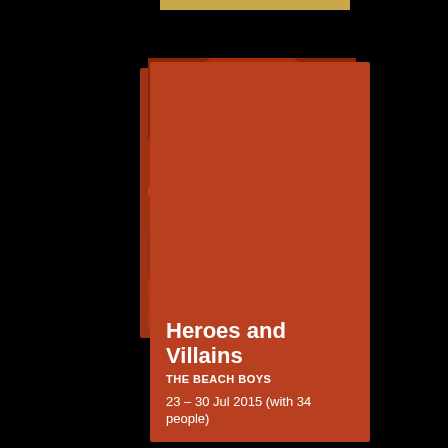[Figure (photo): Red-tinted photo of a woman with a red flower in her hair, looking down, with hoop earrings. The image has a warm red/orange color overlay. Behind the main rectangular photo there is a slightly offset darker rectangle creating a shadow/layered effect.]
Heroes and Villains
THE BEACH BOYS
23 – 30 Jul 2015 (with 34 people)